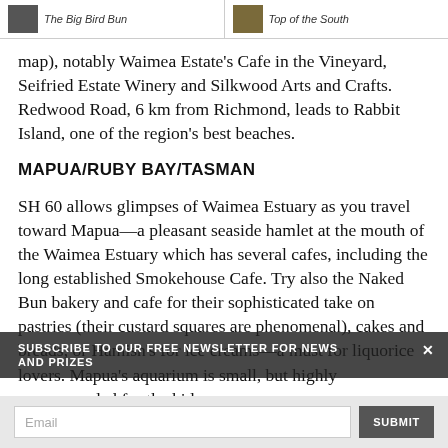The Big Bird Bun | Top of the South
map), notably Waimea Estate's Cafe in the Vineyard, Seifried Estate Winery and Silkwood Arts and Crafts. Redwood Road, 6 km from Richmond, leads to Rabbit Island, one of the region's best beaches.
MAPUA/RUBY BAY/TASMAN
SH 60 allows glimpses of Waimea Estuary as you travel toward Mapua—a pleasant seaside hamlet at the mouth of the Waimea Estuary which has several cafes, including the long established Smokehouse Cafe. Try also the Naked Bun bakery and cafe for their sophisticated take on pastries (their custard squares are phenomenal), cakes and breads, or Hamish's for ice creams—a must for liquorice lovers. Mapua's aquarium is small, but highly recommended for the kids.
SUBSCRIBE TO OUR FREE NEWSLETTER FOR NEWS AND PRIZES
Email
SUBMIT